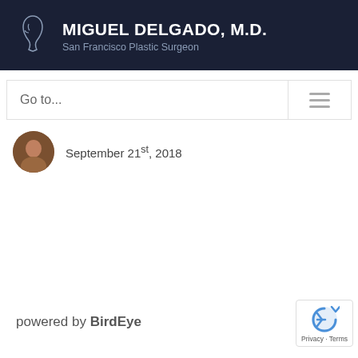MIGUEL DELGADO, M.D. — San Francisco Plastic Surgeon
Go to...
September 21st, 2018
powered by BirdEye
[Figure (logo): reCAPTCHA logo with Privacy · Terms text]